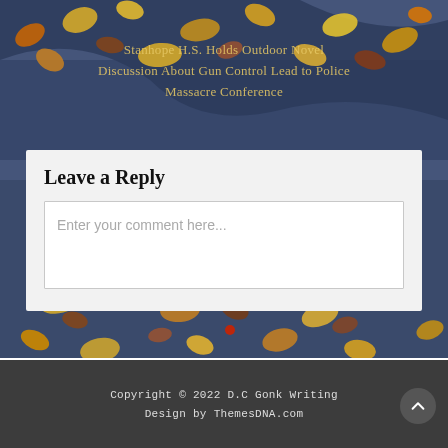[Figure (illustration): Abstract painting background with autumn leaves (yellow, orange, brown, red) scattered on a dark blue/purple surface, partially submerged in water. Semi-transparent text overlay reads blog post title about Stanhope H.S. Holds Outdoor Novel Discussion about Gun Control leading to Police Massacre Conference.]
Stanhope H.S. Holds Outdoor Novel Discussion About Gun Control Lead to Police Massacre Conference
Leave a Reply
Enter your comment here...
Copyright © 2022 D.C Gonk Writing
Design by ThemesDNA.com